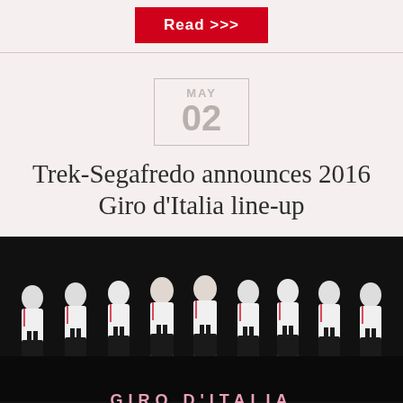Read >>>
Trek-Segafredo announces 2016 Giro d'Italia line-up
[Figure (photo): Group photo of Trek-Segafredo cycling team riders in white and black jerseys with Trek and Segafredo branding, against a dark background, with 'GIRO D'ITALIA' text at the bottom.]